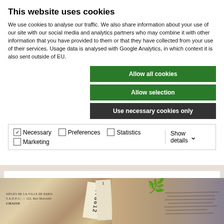This website uses cookies
We use cookies to analyse our traffic. We also share information about your use of our site with our social media and analytics partners who may combine it with other information that you have provided to them or that they have collected from your use of their services. Usage data is analysed with Google Analytics, in which context it is also sent outside of EU.
Allow all cookies
Allow selection
Use necessary cookies only
Necessary  Preferences  Statistics  Marketing  Show details
Author: Riitta Ojanperä
[Figure (photo): Decorative image strip showing vintage documents, tickets with numbers, a decorative bird/feather motif, and handwritten text]